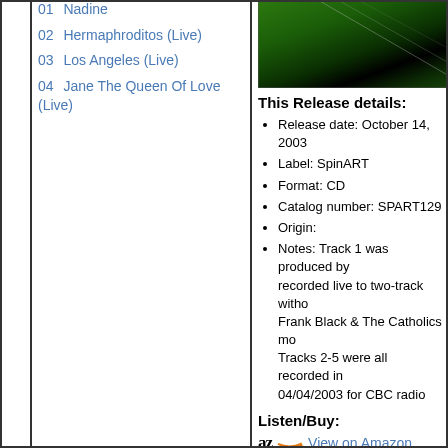01  Nadine
02  Hermaphroditos (Live)
03  Los Angeles (Live)
04  Jane The Queen Of Love (Live)
[Figure (photo): Album cover or band photo with green and black colors, appears to show a guitar or instrument]
This Release details:
Release date: October 14, 2003
Label: SpinART
Format: CD
Catalog number: SPART129
Origin:
Notes: Track 1 was produced by... recorded live to two-track witho... Frank Black & The Catholics mo... Tracks 2-5 were all recorded in... 04/04/2003 for CBC radio
Listen/Buy:
az View on Amazon
Other Releases:
Format: CD, Label: Cooking Vir...
Differences with current release... In: Snake Oil, Ludwigshafen